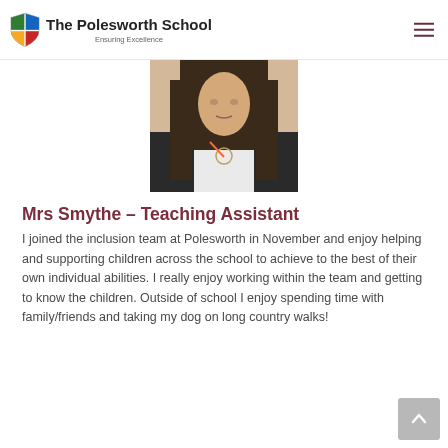The Polesworth School – Ensuring Excellence
[Figure (photo): Headshot photo of Mrs Smythe, a woman with long dark hair wearing a dark blazer and white top with a necklace and lanyard]
Mrs Smythe – Teaching Assistant
I joined the inclusion team at Polesworth in November and enjoy helping and supporting children across the school to achieve to the best of their own individual abilities. I really enjoy working within the team and getting to know the children. Outside of school I enjoy spending time with family/friends and taking my dog on long country walks!